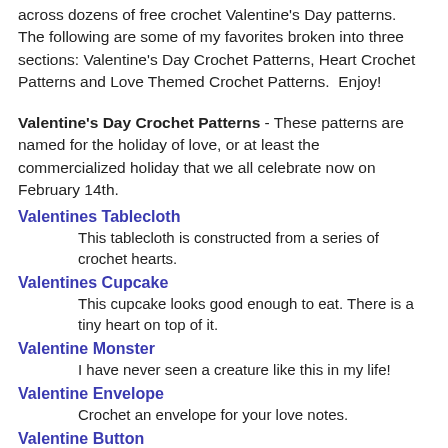across dozens of free crochet Valentine's Day patterns.  The following are some of my favorites broken into three sections: Valentine's Day Crochet Patterns, Heart Crochet Patterns and Love Themed Crochet Patterns.  Enjoy!
Valentine's Day Crochet Patterns - These patterns are named for the holiday of love, or at least the commercialized holiday that we all celebrate now on February 14th.
Valentines Tablecloth
This tablecloth is constructed from a series of crochet hearts.
Valentines Cupcake
This cupcake looks good enough to eat. There is a tiny heart on top of it.
Valentine Monster
I have never seen a creature like this in my life!
Valentine Envelope
Crochet an envelope for your love notes.
Valentine Button
This reminds me of a mint.
Valentine Heart Doily